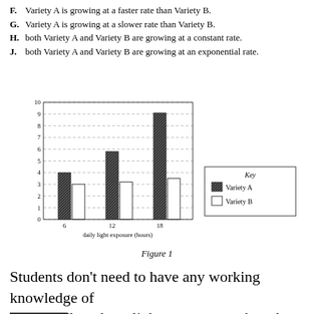F. Variety A is growing at a faster rate than Variety B.
G. Variety A is growing at a slower rate than Variety B.
H. both Variety A and Variety B are growing at a constant rate.
J. both Variety A and Variety B are growing at an exponential rate.
[Figure (grouped-bar-chart): ]
Figure 1
Students don't need to have any working knowledge of botany, vine length, or light exposure; rather, they need to accurately read this graph and compare